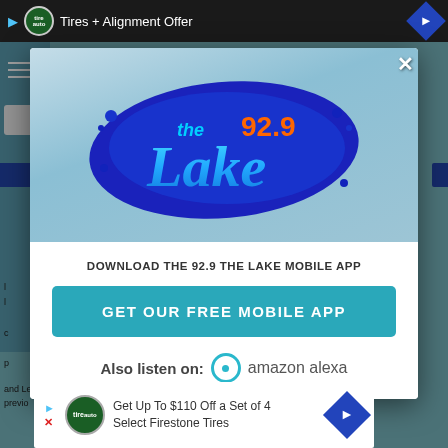[Figure (screenshot): Top ad bar showing tire logo, 'Tires + Alignment Offer' text and navigation diamond on dark background]
[Figure (logo): 92.9 The Lake radio station logo on blue splash background inside modal dialog]
DOWNLOAD THE 92.9 THE LAKE MOBILE APP
GET OUR FREE MOBILE APP
Also listen on: amazon alexa
Get Up To $110 Off a Set of 4 Select Firestone Tires